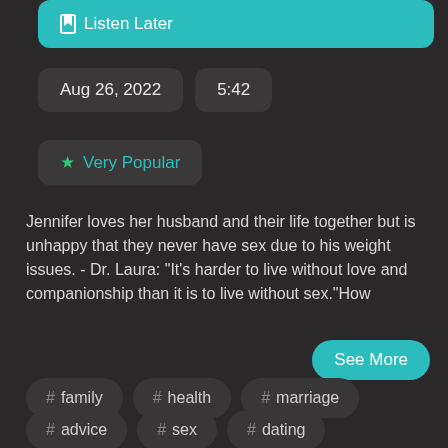Listen Later
Aug 26, 2022
5:42
Very Popular
Jennifer loves her husband and their life together but is unhappy that they never have sex due to his weight issues. - Dr. Laura: "It's harder to live without love and companionship than it is to live without sex."How
See More
# family
# health
# marriage
# advice
# sex
# dating
# friendship
# parenting